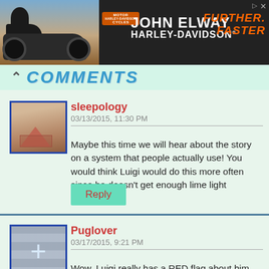[Figure (photo): Advertisement banner for John Elway Harley-Davidson with motorcycle, logo, and 'Further Faster' tagline]
COMMENTS
sleepology
03/13/2015, 11:30 PM
Maybe this time we will hear about the story on a system that people actually use! You would think Luigi would do this more often since he doesn't get enough lime light
Reply
Puglover
03/17/2015, 9:21 PM
Wow. Luigi really has a RED flag about him… Wasn't he a good BROTHER? I dunno, the tale seems a little too TALL for me. It's all fine and PEACHY, I guess…. I'm having trouble